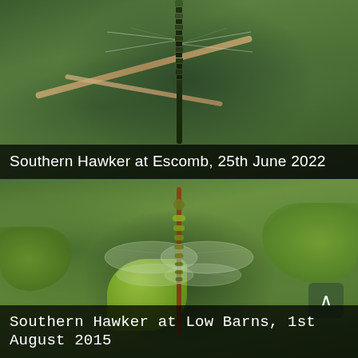[Figure (photo): Close-up photograph of a Southern Hawker dragonfly perched vertically, viewed from above, with green foliage background and crossed twigs/branches visible]
Southern Hawker at Escomb, 25th June 2022
[Figure (photo): Close-up photograph of a Southern Hawker dragonfly perched on a stem with wings spread, green foliage background, with a green leaf visible below and a scroll-to-top button in the bottom right corner]
Southern Hawker at Low Barns, 1st August 2015